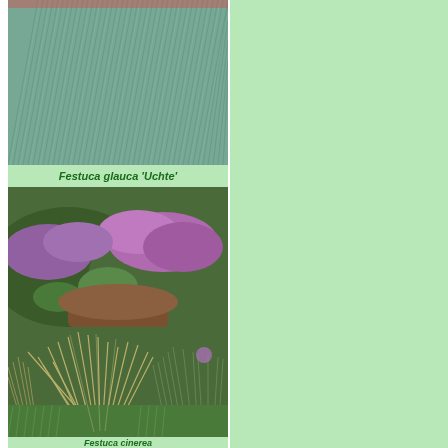[Figure (photo): Close-up photograph of Festuca glauca 'Uchte' grass, showing fine blue-green grass blades densely packed]
Festuca glauca 'Uchte'
[Figure (photo): Garden landscape photo showing ornamental grasses with purple flowering heather shrubs in the background and feathery grass clumps in the foreground]
Festuca cinerea